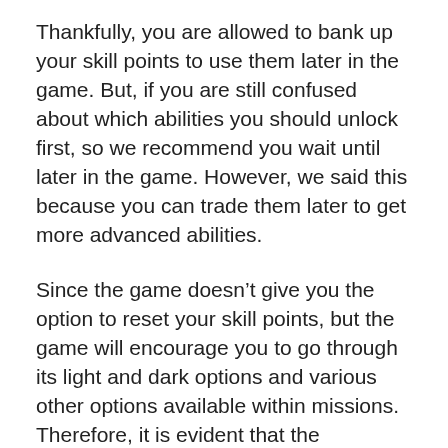Thankfully, you are allowed to bank up your skill points to use them later in the game. But, if you are still confused about which abilities you should unlock first, so we recommend you wait until later in the game. However, we said this because you can trade them later to get more advanced abilities.
Since the game doesn’t give you the option to reset your skill points, but the game will encourage you to go through its light and dark options and various other options available within missions. Therefore, it is evident that the dedicated player will play this game again once finished in order to create a totally different mutant and unlock other different abilities to conquer the game.
Yeah! There is a high chance that developers add more features to the game in the near future. But, this will only happen if devs find it worthy and many players worldwide